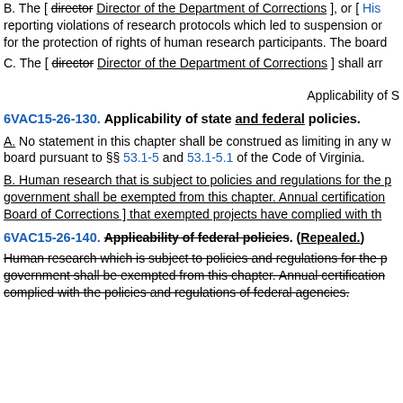B. The [ director Director of the Department of Corrections ], or [ His reporting violations of research protocols which led to suspension or for the protection of rights of human research participants. The board
C. The [ director Director of the Department of Corrections ] shall arr
Applicability of S
6VAC15-26-130. Applicability of state and federal policies.
A. No statement in this chapter shall be construed as limiting in any w board pursuant to §§ 53.1-5 and 53.1-5.1 of the Code of Virginia.
B. Human research that is subject to policies and regulations for the p government shall be exempted from this chapter. Annual certification Board of Corrections ] that exempted projects have complied with th
6VAC15-26-140. Applicability of federal policies. (Repealed.)
Human research which is subject to policies and regulations for the p government shall be exempted from this chapter. Annual certification complied with the policies and regulations of federal agencies.